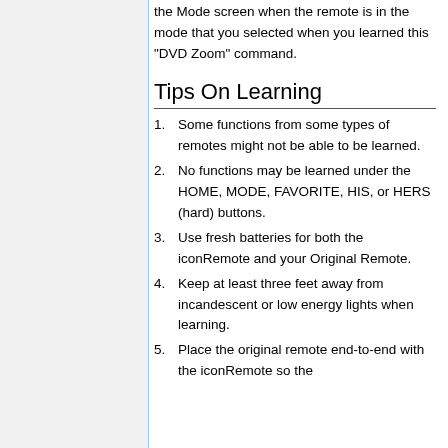the Mode screen when the remote is in the mode that you selected when you learned this “DVD Zoom” command.
Tips On Learning
Some functions from some types of remotes might not be able to be learned.
No functions may be learned under the HOME, MODE, FAVORITE, HIS, or HERS (hard) buttons.
Use fresh batteries for both the iconRemote and your Original Remote.
Keep at least three feet away from incandescent or low energy lights when learning.
Place the original remote end-to-end with the iconRemote so the